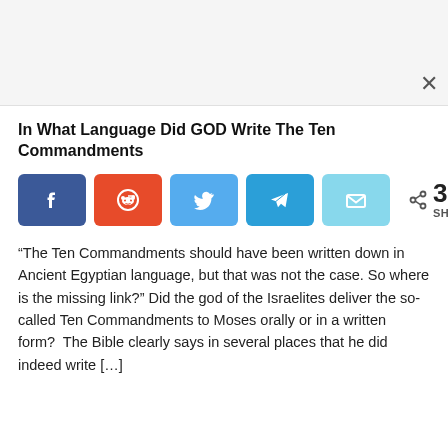In What Language Did GOD Write The Ten Commandments
[Figure (other): Social share buttons row: Facebook (blue), Reddit (red/orange), Twitter (light blue), Telegram (blue), Email (light cyan), followed by share count showing 3K SHARES]
“The Ten Commandments should have been written down in Ancient Egyptian language, but that was not the case. So where is the missing link?” Did the god of the Israelites deliver the so-called Ten Commandments to Moses orally or in a written form?  The Bible clearly says in several places that he did indeed write […]